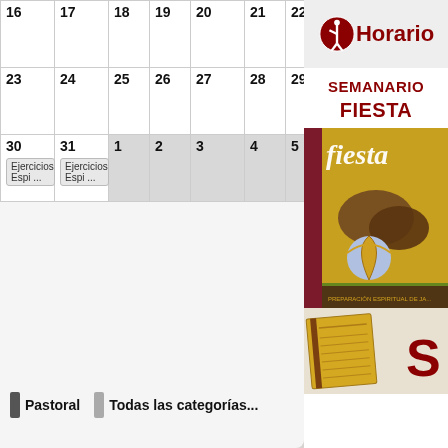| 16 | 17 | 18 | 19 | 20 | 21 | 22 |
| --- | --- | --- | --- | --- | --- | --- |
|  |  |  |  |  |  |  |
| 23 | 24 | 25 | 26 | 27 | 28 | 29 |
|  |  |  |  |  |  |  |
| 30
Ejercicios Espi ... | 31
Ejercicios Espi ... | 1 | 2 | 3 | 4 | 5 |
Pastoral
Todas las categorías...
[Figure (logo): Horario logo with pilgrim figure icon in red circle and text 'Horario']
SEMANARIO
FIESTA
[Figure (photo): Fiesta magazine cover with yellow/gold background showing hiking boots and a Camino de Santiago shell marker stone]
[Figure (photo): Bottom sidebar image with book/publication and large letter S in dark red]